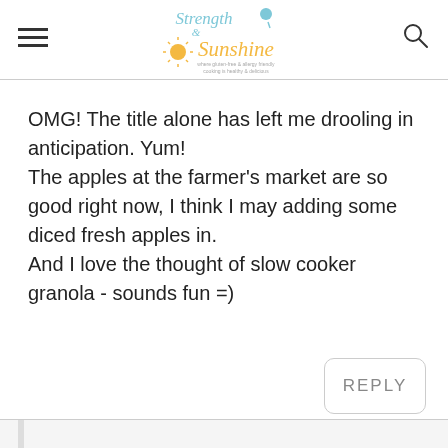Strength & Sunshine — where gluten-free & allergy friendly cooking is healthy & delicious
OMG! The title alone has left me drooling in anticipation. Yum!
The apples at the farmer's market are so good right now, I think I may adding some diced fresh apples in.
And I love the thought of slow cooker granola - sounds fun =)